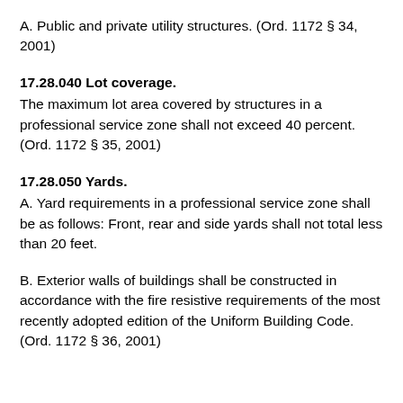A. Public and private utility structures. (Ord. 1172 § 34, 2001)
17.28.040 Lot coverage.
The maximum lot area covered by structures in a professional service zone shall not exceed 40 percent. (Ord. 1172 § 35, 2001)
17.28.050 Yards.
A. Yard requirements in a professional service zone shall be as follows: Front, rear and side yards shall not total less than 20 feet.
B. Exterior walls of buildings shall be constructed in accordance with the fire resistive requirements of the most recently adopted edition of the Uniform Building Code. (Ord. 1172 § 36, 2001)